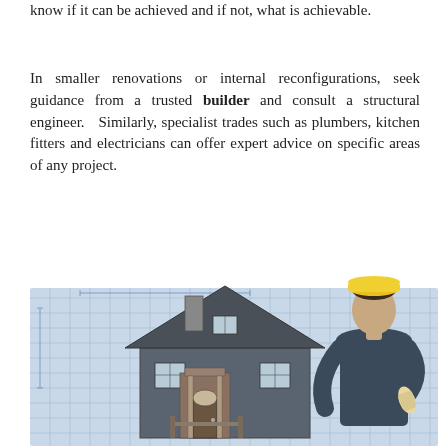know if it can be achieved and if not, what is achievable.
In smaller renovations or internal reconfigurations, seek guidance from a trusted builder and consult a structural engineer. Similarly, specialist trades such as plumbers, kitchen fitters and electricians can offer expert advice on specific areas of any project.
[Figure (illustration): A person in a hard hat and suit viewed from behind, looking at a 3D house model placed on architectural blueprints]